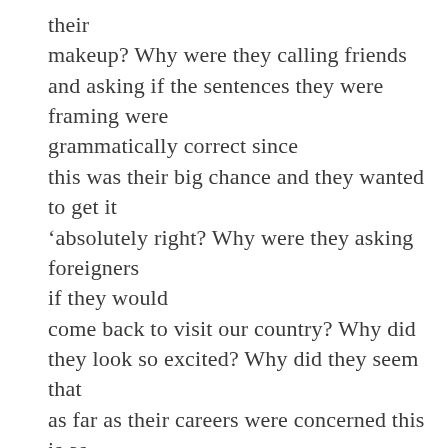their makeup?  Why were they calling friends and asking if the sentences they were framing were grammatically correct since this was their big chance and they wanted to get it 'absolutely right?  Why were they asking foreigners if they would come back to visit our country?  Why did they look so excited?  Why did they seem that as far as their careers were concerned this is as good as it was going to get? Why do the interviewers speak more than the people being interviewed?  Why we projecting what we want to hear as opposed to listening?  Why do the anchors in the studio insist upon using the word 'exclusive' in every sentence?  Do we really care?  Do the media remember what their job